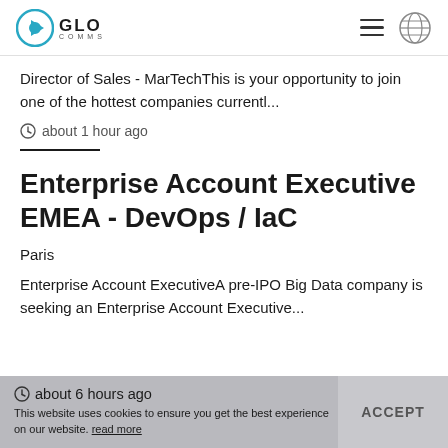GLO COMMS
Director of Sales - MarTechThis is your opportunity to join one of the hottest companies currentl...
about 1 hour ago
Enterprise Account Executive EMEA - DevOps / IaC
Paris
Enterprise Account ExecutiveA pre-IPO Big Data company is seeking an Enterprise Account Executive...
about 6 hours ago
This website uses cookies to ensure you get the best experience on our website. read more